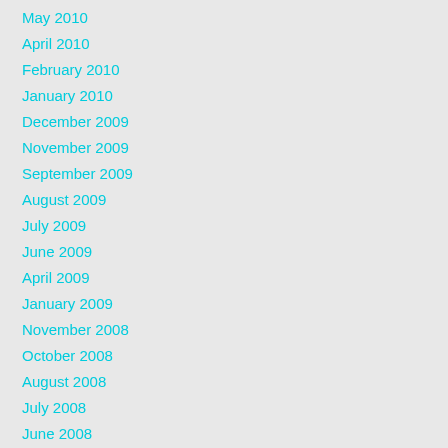May 2010
April 2010
February 2010
January 2010
December 2009
November 2009
September 2009
August 2009
July 2009
June 2009
April 2009
January 2009
November 2008
October 2008
August 2008
July 2008
June 2008
April 2008
March 2008